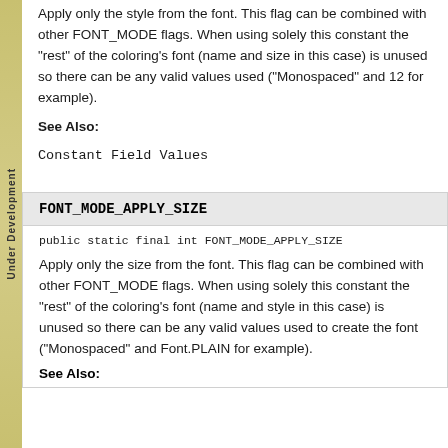Apply only the style from the font. This flag can be combined with other FONT_MODE flags. When using solely this constant the "rest" of the coloring's font (name and size in this case) is unused so there can be any valid values used ("Monospaced" and 12 for example).
See Also:
Constant Field Values
FONT_MODE_APPLY_SIZE
public static final int FONT_MODE_APPLY_SIZE
Apply only the size from the font. This flag can be combined with other FONT_MODE flags. When using solely this constant the "rest" of the coloring's font (name and style in this case) is unused so there can be any valid values used to create the font ("Monospaced" and Font.PLAIN for example).
See Also: